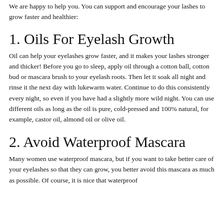We are happy to help you. You can support and encourage your lashes to grow faster and healthier:
1. Oils For Eyelash Growth
Oil can help your eyelashes grow faster, and it makes your lashes stronger and thicker! Before you go to sleep, apply oil through a cotton ball, cotton bud or mascara brush to your eyelash roots. Then let it soak all night and rinse it the next day with lukewarm water. Continue to do this consistently every night, so even if you have had a slightly more wild night. You can use different oils as long as the oil is pure, cold-pressed and 100% natural, for example, castor oil, almond oil or olive oil.
2. Avoid Waterproof Mascara
Many women use waterproof mascara, but if you want to take better care of your eyelashes so that they can grow, you better avoid this mascara as much as possible. Of course, it is nice that waterproof